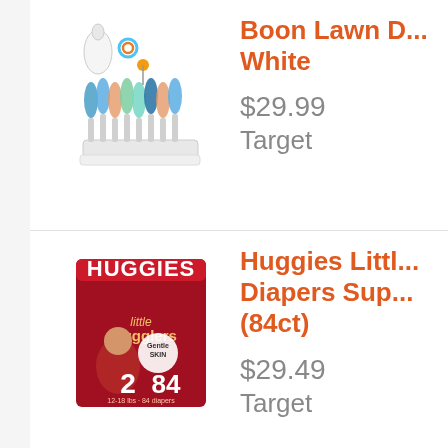[Figure (photo): Boon Lawn countertop drying rack with baby bottles and accessories, white]
Boon Lawn D... White
$29.99
Target
[Figure (photo): Huggies Little Snugglers diapers super pack size 2, 84 count, red box]
Huggies Little Diapers Sup... (84ct)
$29.49
Target
[Figure (photo): Huggies Little Snugglers diapers box, partially visible at bottom]
Huggies Littl...